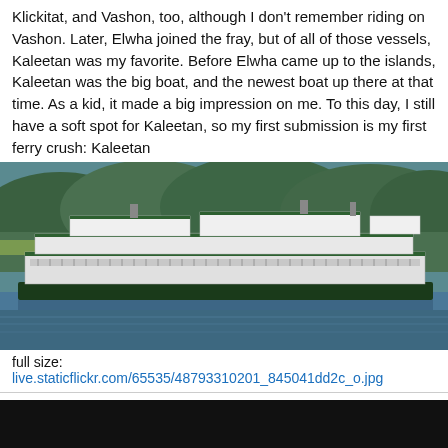Klickitat, and Vashon, too, although I don't remember riding on Vashon. Later, Elwha joined the fray, but of all of those vessels, Kaleetan was my favorite. Before Elwha came up to the islands, Kaleetan was the big boat, and the newest boat up there at that time. As a kid, it made a big impression on me. To this day, I still have a soft spot for Kaleetan, so my first submission is my first ferry crush: Kaleetan
[Figure (photo): A Washington State Ferry (Kaleetan) on the water with forested hillside in the background]
full size: live.staticflickr.com/65535/48793310201_845041dd2c_o.jpg
WettCoast
Voyager
Sep 26, 2019 at 4:08am
Low Light Mike, EGfleet, and 2 more like this
In the summer of 1960, when I was six years old, I am pretty much sure that my father (Mom too) packed up the family and took us to visit his mother (my grand mother) in North Delta, which meant a ride on BC's